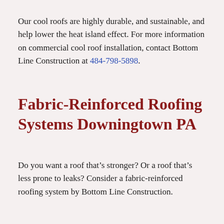Our cool roofs are highly durable, and sustainable, and help lower the heat island effect. For more information on commercial cool roof installation, contact Bottom Line Construction at 484-798-5898.
Fabric-Reinforced Roofing Systems Downingtown PA
Do you want a roof that’s stronger? Or a roof that’s less prone to leaks? Consider a fabric-reinforced roofing system by Bottom Line Construction.